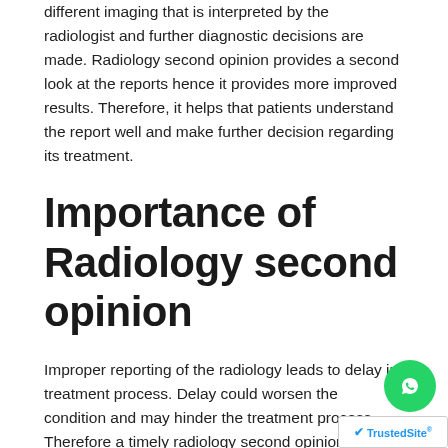different imaging that is interpreted by the radiologist and further diagnostic decisions are made. Radiology second opinion provides a second look at the reports hence it provides more improved results. Therefore, it helps that patients understand the report well and make further decision regarding its treatment.
Importance of Radiology second opinion
Improper reporting of the radiology leads to delay in treatment process. Delay could worsen the condition and may hinder the treatment process. Therefore a timely radiology second opinion saves time and makes early detec...